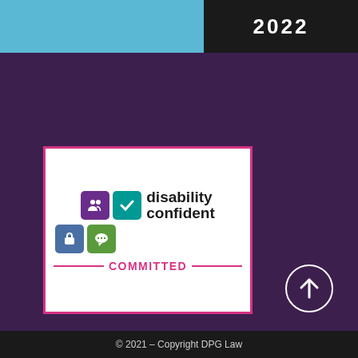2022
[Figure (logo): Disability Confident Committed badge — pink border with four coloured icons (purple people, teal checkmark, blue padlock, green speech bubble) and the text 'disability confident COMMITTED']
[Figure (logo): Solicitors Regulation Authority badge — grey background with white shield/arrow logo, text 'REGULATED BY SOLICITORS REGULATION AUTHORITY ▶ LEARN MORE 2 SEP 2022']
[Figure (other): Circular arrow-up navigation button]
© 2021 – Copyright DPG Law